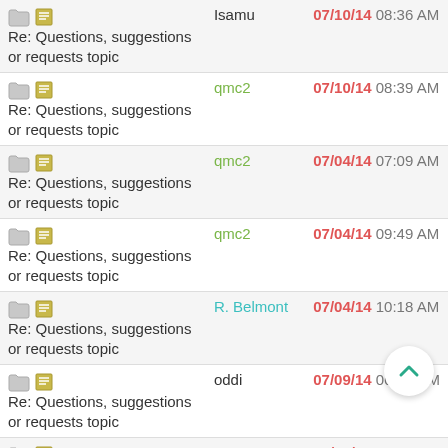| Topic | Author | Date/Time |
| --- | --- | --- |
| Re: Questions, suggestions or requests topic | Isamu | 07/10/14 08:36 AM |
| Re: Questions, suggestions or requests topic | qmc2 | 07/10/14 08:39 AM |
| Re: Questions, suggestions or requests topic | qmc2 | 07/04/14 07:09 AM |
| Re: Questions, suggestions or requests topic | qmc2 | 07/04/14 09:49 AM |
| Re: Questions, suggestions or requests topic | R. Belmont | 07/04/14 10:18 AM |
| Re: Questions, suggestions or requests topic | oddi | 07/09/14 06:10 PM |
| Re: Questions, suggestions or requests topic | qmc2 | 07/10/14 09:23 AM |
| Re: Questions, suggestions or requests topic | qmc2 | 07/09/14 06:26 PM |
| Re: Questions, suggestions or requests topic | oddi | 07/10/14 01:46 AM |